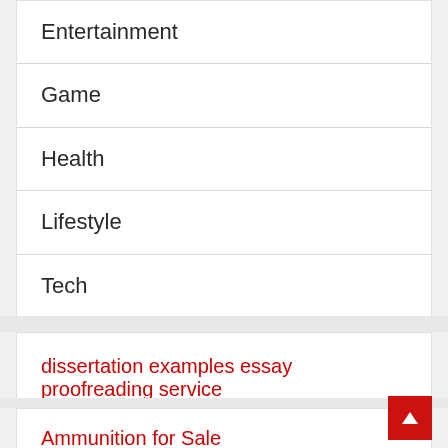Entertainment
Game
Health
Lifestyle
Tech
Uncategorized
dissertation examples essay proofreading service
Ammunition for Sale